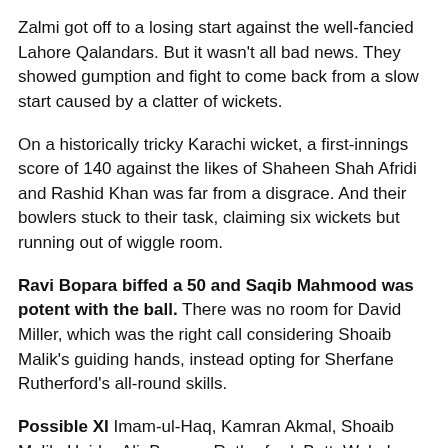Zalmi got off to a losing start against the well-fancied Lahore Qalandars. But it wasn't all bad news. They showed gumption and fight to come back from a slow start caused by a clatter of wickets.
On a historically tricky Karachi wicket, a first-innings score of 140 against the likes of Shaheen Shah Afridi and Rashid Khan was far from a disgrace. And their bowlers stuck to their task, claiming six wickets but running out of wiggle room.
Ravi Bopara biffed a 50 and Saqib Mahmood was potent with the ball. There was no room for David Miller, which was the right call considering Shoaib Malik's guiding hands, instead opting for Sherfane Rutherford's all-round skills.
Possible XI Imam-ul-Haq, Kamran Akmal, Shoaib Malik, Haider Ali, Bopara, Rutherford, Butt, Wahab, Mujeeb, Saqib, Imran
Sultans sulk
Multan must still be scratching their heads as to how they